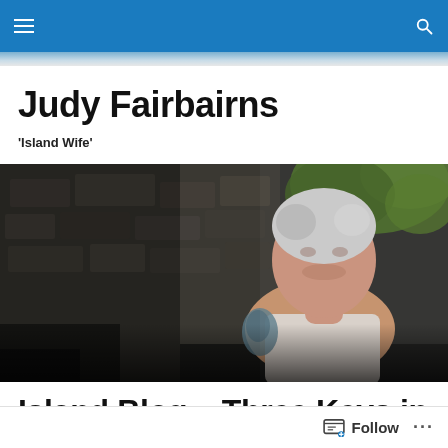Navigation bar with menu and search icons
Judy Fairbairns
'Island Wife'
[Figure (photo): Woman with short grey/white hair, smiling, wearing a white tank top with a tattoo on her arm, seated outdoors against a stone wall with greenery in the background.]
Island Blog – Three Keys in My Hand
Follow  ...